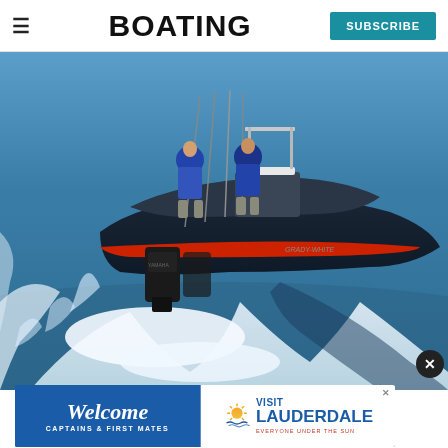≡  BOATING  SUBSCRIBE
[Figure (photo): Aerial view of a center-console fishing boat with two anglers and fishing rods, speeding across calm water creating a large white wake. The boat is dark navy with a red stripe and has a yamaha outboard motor.]
[Figure (infographic): Advertisement banner: 'Welcome CAPTAINS & FIRST MATES' on blue background left side; 'VISIT LAUDERDALE EVERYONE UNDER THE SUN' with sun/waves logo on white right side. Close X button in top right corner.]